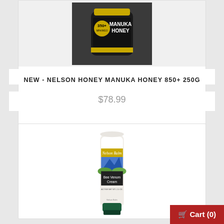[Figure (photo): Product photo of Nelson Honey Manuka Honey 850+ 250g jar with black label and gold text on dark background]
NEW - NELSON HONEY MANUKA HONEY 850+ 250G
$78.99
[Figure (photo): Product photo of Nelson Balm Bee Venom Cream tube with landscape label design and green cap]
Cart (0)